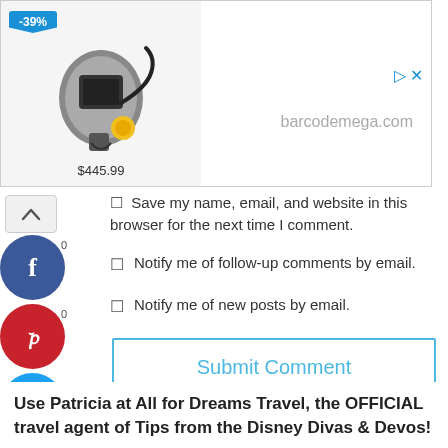[Figure (screenshot): Advertisement banner showing a barcode scanner device with -39% discount tag, priced at $445.99, from barcodemega.com]
Save my name, email, and website in this browser for the next time I comment.
Notify me of follow-up comments by email.
Notify me of new posts by email.
Submit Comment
Use Patricia at All for Dreams Travel, the OFFICIAL travel agent of Tips from the Disney Divas & Devos!